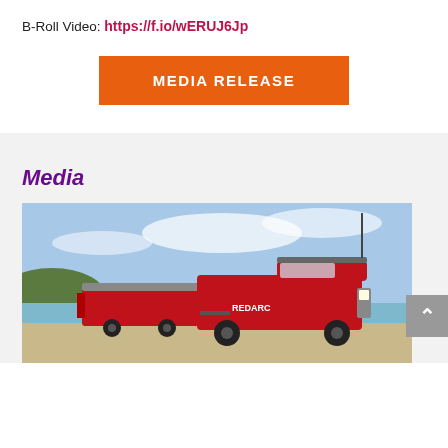B-Roll Video: https://f.io/wERUJ6Jp
MEDIA RELEASE
Media
[Figure (photo): Red REDARC branded 4WD pickup truck with roof rack and equipment, parked on a beach with a trailer behind it, coastal landscape and blue sky in background.]